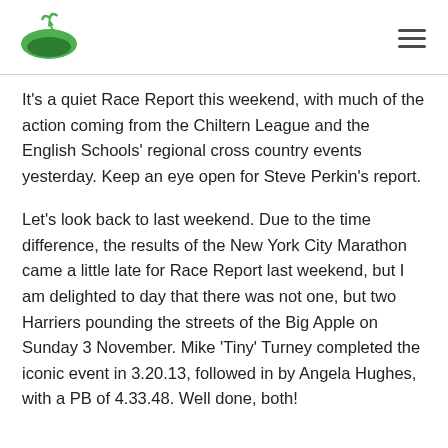[Figure (logo): Green oval logo with a bird and hill silhouette]
It’s a quiet Race Report this weekend, with much of the action coming from the Chiltern League and the English Schools’ regional cross country events yesterday. Keep an eye open for Steve Perkin’s report.
Let’s look back to last weekend. Due to the time difference, the results of the New York City Marathon came a little late for Race Report last weekend, but I am delighted to day that there was not one, but two Harriers pounding the streets of the Big Apple on Sunday 3 November. Mike ‘Tiny’ Turney completed the iconic event in 3.20.13, followed in by Angela Hughes, with a PB of 4.33.48. Well done, both!